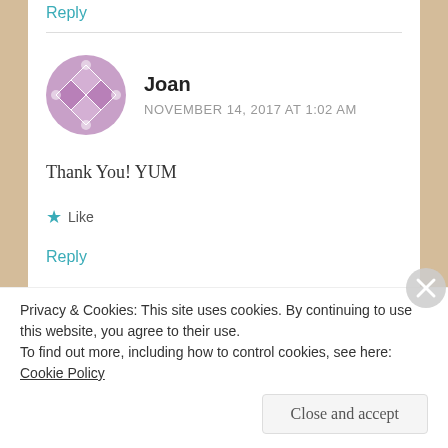Reply
Joan
NOVEMBER 14, 2017 AT 1:02 AM
Thank You! YUM
Like
Reply
Leave a Reply
Privacy & Cookies: This site uses cookies. By continuing to use this website, you agree to their use.
To find out more, including how to control cookies, see here: Cookie Policy
Close and accept